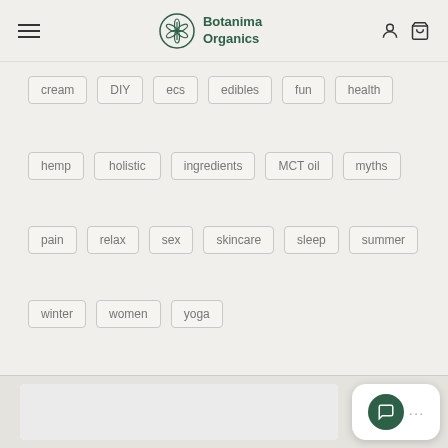Botanima Organics
cream
DIY
ecs
edibles
fun
health
hemp
holistic
ingredients
MCT oil
myths
pain
relax
sex
skincare
sleep
summer
winter
women
yoga